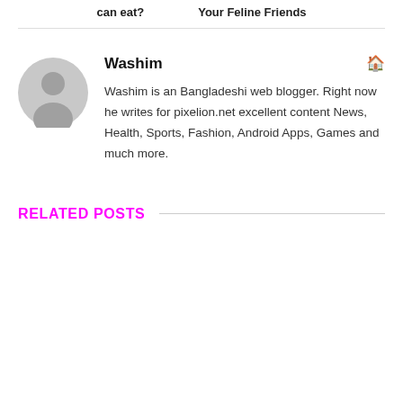can eat?   Your Feline Friends
Washim
Washim is an Bangladeshi web blogger. Right now he writes for pixelion.net excellent content News, Health, Sports, Fashion, Android Apps, Games and much more.
RELATED POSTS